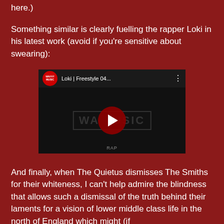here.)
Something similar is clearly fuelling the rapper Loki in his latest work (avoid if you're sensitive about swearing):
[Figure (screenshot): YouTube video thumbnail for 'Loki | Freestyle 04...' by WAVVYMUSIC channel, showing a dark video still with a red play button overlay and WAVVY MUSIC watermark]
And finally, when The Quietus dismisses The Smiths for their whiteness, I can't help admire the blindness that allows such a dismissal of the truth behind their laments for a vision of lower middle class life in the north of England which might (if